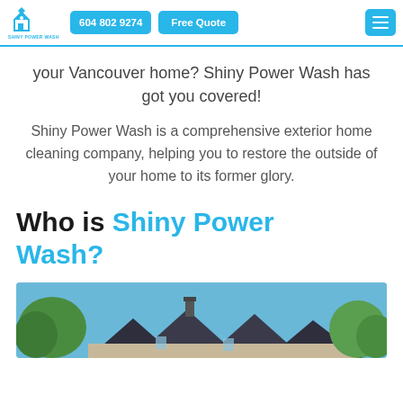604 802 9274 | Free Quote | [hamburger menu]
your Vancouver home? Shiny Power Wash has got you covered!
Shiny Power Wash is a comprehensive exterior home cleaning company, helping you to restore the outside of your home to its former glory.
Who is Shiny Power Wash?
[Figure (photo): Exterior photo of a Vancouver house with Tudor-style architecture, multiple peaked rooflines, trees and blue sky in background]